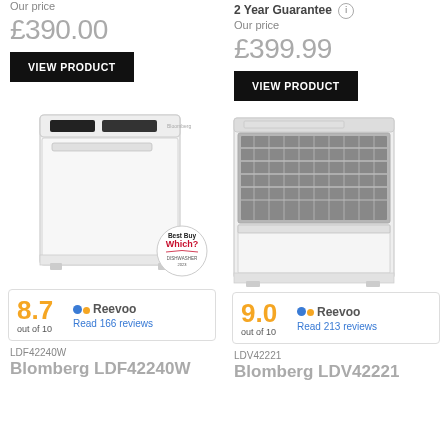Our price
£390.00
VIEW PRODUCT
[Figure (photo): Blomberg LDF42240W freestanding white dishwasher with Which? Best Buy badge]
8.7 out of 10 Reevoo Read 166 reviews
LDF42240W
Blomberg LDF42240W
2 Year Guarantee
Our price
£399.99
VIEW PRODUCT
[Figure (photo): Blomberg LDV42221 integrated white dishwasher with open door showing interior rack]
9.0 out of 10 Reevoo Read 213 reviews
LDV42221
Blomberg LDV42221